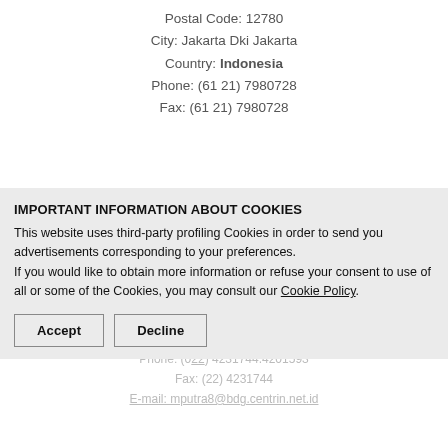Postal Code: 12780
City: Jakarta Dki Jakarta
Country: Indonesia
Phone: (61 21) 7980728
Fax: (61 21) 7980728
IMPORTANT INFORMATION ABOUT COOKIES
This website uses third-party profiling Cookies in order to send you advertisements corresponding to your preferences.
If you would like to obtain more information or refuse your consent to use of all or some of the Cookies, you may consult our Cookie Policy.
Accept   Decline